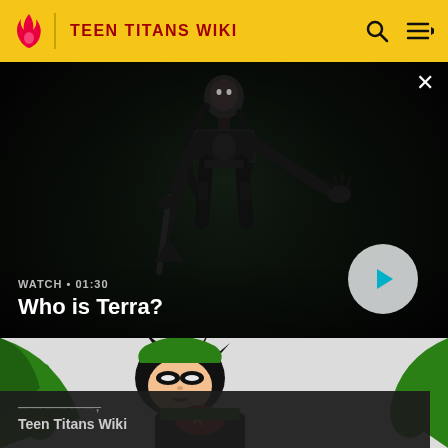TEEN TITANS WIKI
[Figure (screenshot): Teen Titans Wiki website screenshot showing a video panel featuring an animated armored female character (Terra) holding a staff on a dark background, with a play button, watch duration label, video title, and a wiki bar below, plus a partial view of Robin and another character at the bottom.]
WATCH • 01:30
Who is Terra?
Teen Titans Wiki